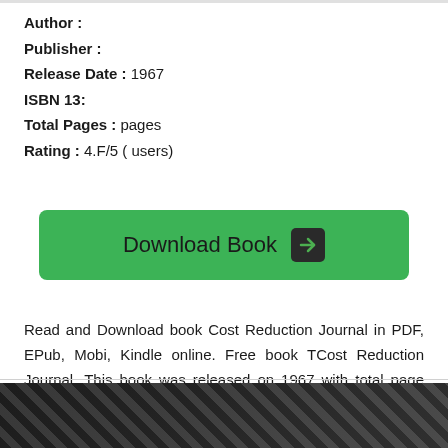Author :
Publisher :
Release Date : 1967
ISBN 13:
Total Pages : pages
Rating : 4.F/5 ( users)
[Figure (other): Green Download Book button with arrow icon]
Read and Download book Cost Reduction Journal in PDF, EPub, Mobi, Kindle online. Free book TCost Reduction Journal. This book was released on 1967 with total page pages. Book excerpt:
[Figure (photo): Partial book cover image at bottom of page]